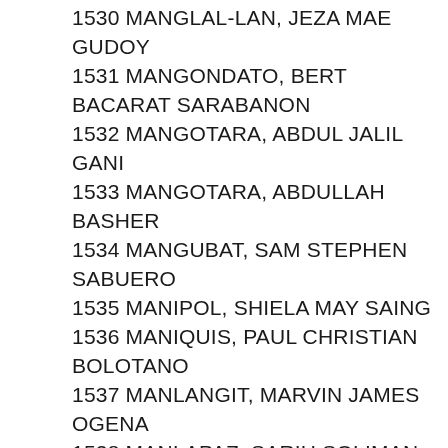1530 MANGLAL-LAN, JEZA MAE GUDOY
1531 MANGONDATO, BERT BACARAT SARABANON
1532 MANGOTARA, ABDUL JALIL GANI
1533 MANGOTARA, ABDULLAH BASHER
1534 MANGUBAT, SAM STEPHEN SABUERO
1535 MANIPOL, SHIELA MAY SAING
1536 MANIQUIS, PAUL CHRISTIAN BOLOTANO
1537 MANLANGIT, MARVIN JAMES OGENA
1538 MANLAPAZ, SARIH SOLIMAN
1539 MANLISES, CLARISA MAY DAYLO
1540 MANON-OG, NICA ANGELA PEDROSA
1541 MANONDAY, SUNSHYNE AGAD
1542 MANUEL, JOSE ANTON TEODOSO VILLARAMA
1543 MANUEL, ZAIRE-EMERALD DOLLENTAS
1544 MANZANO, BRYAN FAJUTAGANA
1545 MANZANO, JUN CYRIL ASUNCION